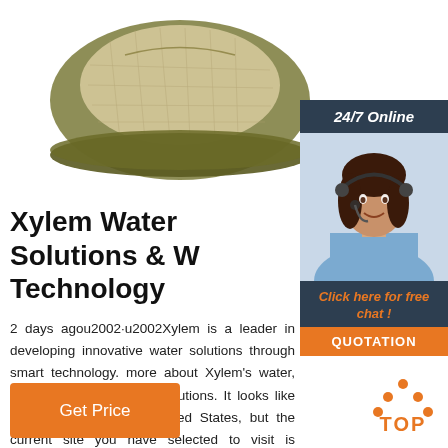[Figure (photo): Olive green mesh baseball cap viewed from below/inside, showing the underside of the brim and mesh top]
[Figure (infographic): 24/7 Online chat widget sidebar with a photo of a smiling woman with headset, 'Click here for free chat!' text in orange, and an orange QUOTATION button]
Xylem Water Solutions & W Technology
2 days agou2002·u2002Xylem is a leader in developing innovative water solutions through smart technology. more about Xylem's water, wastewater and energy solutions. It looks like you are coming from United States, but the current site you have selected to visit is Philippines .
[Figure (other): Orange 'Get Price' button]
[Figure (other): Orange 'TOP' arrow/button in bottom right corner]